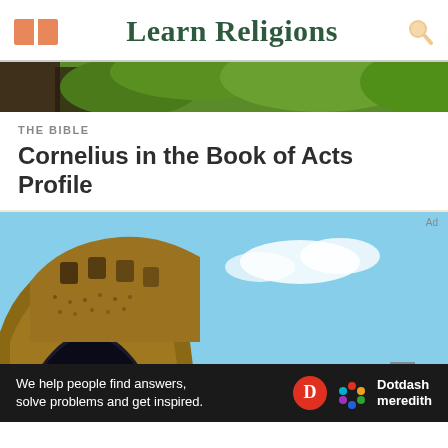Learn Religions
[Figure (photo): Banner strip showing green tree foliage at top of page]
THE BIBLE
Cornelius in the Book of Acts Profile
[Figure (photo): Photo of the Roman Colosseum seen from below against a blue sky with clouds]
We help people find answers, solve problems and get inspired.
[Figure (logo): Dotdash Meredith logo with red D circle and colorful hexagon icon]